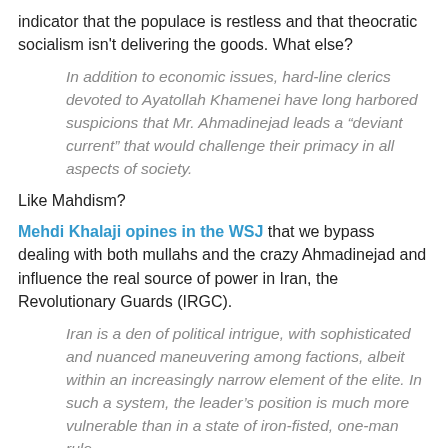indicator that the populace is restless and that theocratic socialism isn't delivering the goods. What else?
In addition to economic issues, hard-line clerics devoted to Ayatollah Khamenei have long harbored suspicions that Mr. Ahmadinejad leads a “deviant current” that would challenge their primacy in all aspects of society.
Like Mahdism?
Mehdi Khalaji opines in the WSJ that we bypass dealing with both mullahs and the crazy Ahmadinejad and influence the real source of power in Iran, the Revolutionary Guards (IRGC).
Iran is a den of political intrigue, with sophisticated and nuanced maneuvering among factions, albeit within an increasingly narrow element of the elite. In such a system, the leader’s position is much more vulnerable than in a state of iron-fisted, one-man rule.